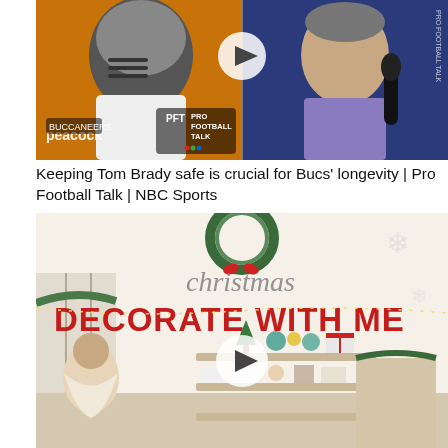[Figure (screenshot): Video thumbnail split: left side shows NFL quarterback in white Buccaneers uniform with helmet and face mask on orange/yellow background with Peacock and Pro Football Talk NBC logos and white play button circle; right side shows man in purple shirt speaking into microphone with blue background and 'PRO FOOTBALL TALK' text]
Keeping Tom Brady safe is crucial for Bucs' longevity | Pro Football Talk | NBC Sports
[Figure (screenshot): Video thumbnail for Christmas decorating video showing a white home interior with Christmas decorations, trees, wreaths, and shelf displays. Script text 'christmas' in cursive and large bold red text 'DECORATE WITH ME' overlaid. White play button circle in center. Woman sitting on left side of frame.]